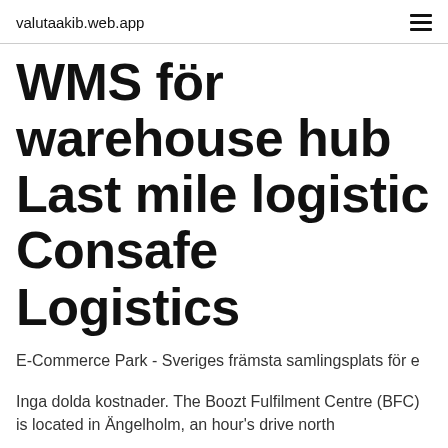valutaakib.web.app
WMS för warehouse hub Last mile logistic Consafe Logistics
E-Commerce Park - Sveriges främsta samlingsplats för e
Inga dolda kostnader. The Boozt Fulfilment Centre (BFC) is located in Ängelholm, an hour's drive north